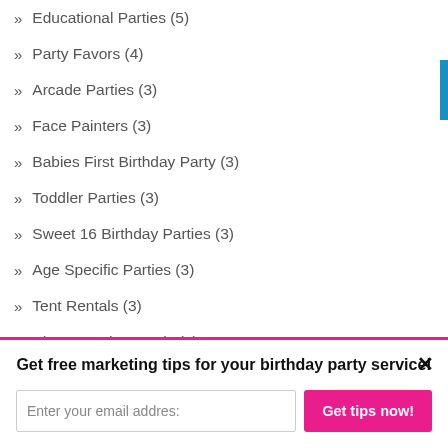Educational Parties (5)
Party Favors (4)
Arcade Parties (3)
Face Painters (3)
Babies First Birthday Party (3)
Toddler Parties (3)
Sweet 16 Birthday Parties (3)
Age Specific Parties (3)
Tent Rentals (3)
Photo Booth Rentals (3)
Get free marketing tips for your birthday party service!
Enter your email address
Get tips now!